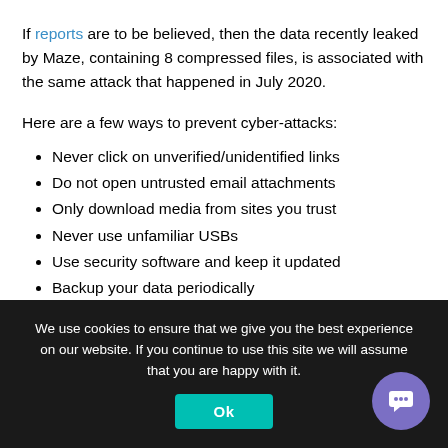If reports are to be believed, then the data recently leaked by Maze, containing 8 compressed files, is associated with the same attack that happened in July 2020.
Here are a few ways to prevent cyber-attacks:
Never click on unverified/unidentified links
Do not open untrusted email attachments
Only download media from sites you trust
Never use unfamiliar USBs
Use security software and keep it updated
Backup your data periodically
We use cookies to ensure that we give you the best experience on our website. If you continue to use this site we will assume that you are happy with it.